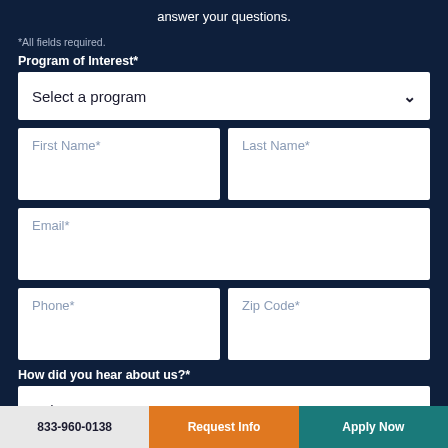answer your questions.
*All fields required.
Program of Interest*
Select a program
First Name*
Last Name*
Email*
Phone*
Zip Code*
How did you hear about us?*
Select One
833-960-0138 | Request Info | Apply Now